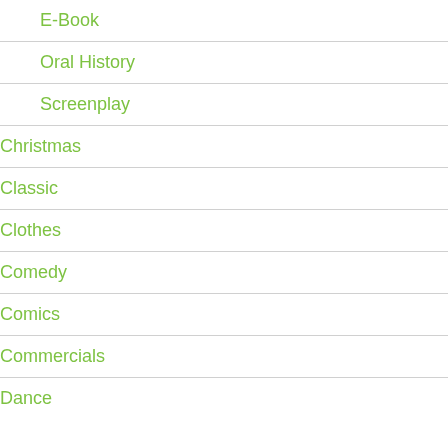E-Book
Oral History
Screenplay
Christmas
Classic
Clothes
Comedy
Comics
Commercials
Dance